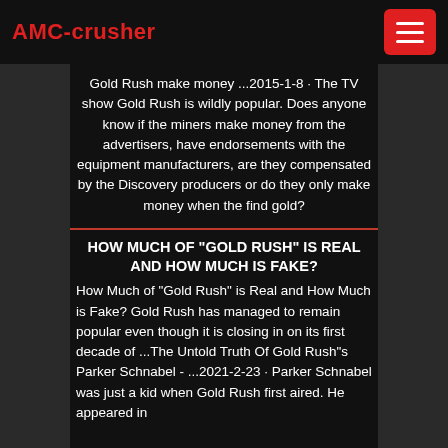AMC-crusher
Gold Rush make money ...2015-1-8 · The TV show Gold Rush is wildly popular. Does anyone know if the miners make money from the advertisers, have endorsements with the equipment manufacturers, are they compensated by the Discovery producers or do they only make money when the find gold?
HOW MUCH OF "GOLD RUSH" IS REAL AND HOW MUCH IS FAKE?
How Much of "Gold Rush" is Real and How Much is Fake? Gold Rush has managed to remain popular even though it is closing in on its first decade of ...The Untold Truth Of Gold Rush"s Parker Schnabel - ...2021-2-23 · Parker Schnabel was just a kid when Gold Rush first aired. He appeared in